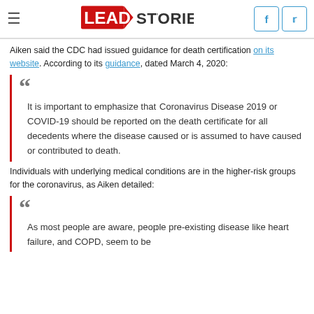Lead Stories
Aiken said the CDC had issued guidance for death certification on its website. According to its guidance, dated March 4, 2020:
It is important to emphasize that Coronavirus Disease 2019 or COVID-19 should be reported on the death certificate for all decedents where the disease caused or is assumed to have caused or contributed to death.
Individuals with underlying medical conditions are in the higher-risk groups for the coronavirus, as Aiken detailed:
As most people are aware, people pre-existing disease like heart failure, and COPD, seem to be